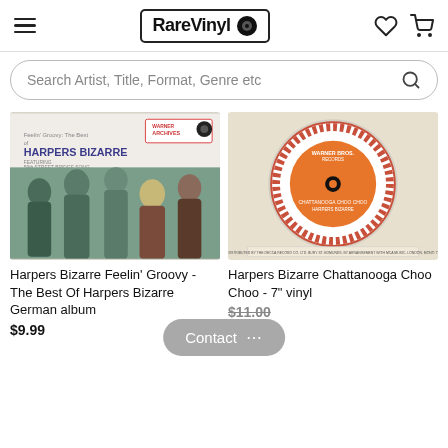RareVinyl
Search Artist, Title, Format, Genre etc
[Figure (photo): Album cover: Harpers Bizarre Feelin' Groovy - The Best Of Harpers Bizarre, Warner Archives label, showing 5 band members]
[Figure (photo): 7 inch vinyl record label: Harpers Bizarre Chattanooga Choo Choo, Warner Bros. Records, orange label]
Harpers Bizarre Feelin' Groovy - The Best Of Harpers Bizarre German album
$9.99
Harpers Bizarre Chattanooga Choo Choo - 7" vinyl
$11.00